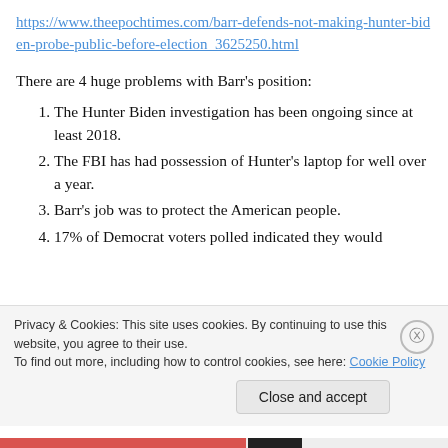https://www.theepochtimes.com/barr-defends-not-making-hunter-biden-probe-public-before-election_3625250.html
There are 4 huge problems with Barr's position:
The Hunter Biden investigation has been ongoing since at least 2018.
The FBI has had possession of Hunter's laptop for well over a year.
Barr's job was to protect the American people.
17% of Democrat voters polled indicated they would
Privacy & Cookies: This site uses cookies. By continuing to use this website, you agree to their use.
To find out more, including how to control cookies, see here: Cookie Policy
Close and accept